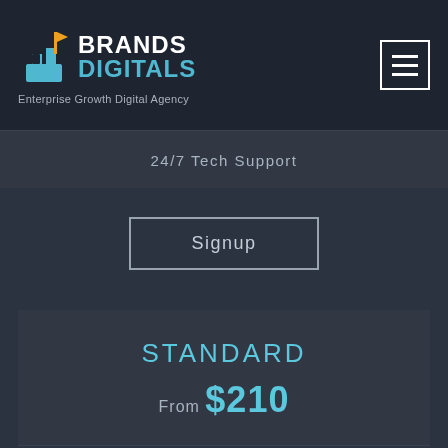[Figure (logo): Brands Digitals logo with icon and tagline 'Enterprise Growth Digital Agency']
24/7 Tech Support
Signup
STANDARD
From $210
100 GB Disk Space
Preffered CMS (Wordpress, Joomla, etc)